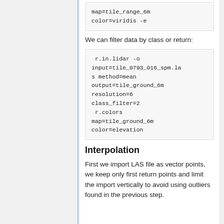map=tile_range_6m
color=viridis -e
We can filter data by class or return:
r.in.lidar -o input=tile_0793_016_spm.las method=mean output=tile_ground_6m resolution=6 class_filter=2
 r.colors map=tile_ground_6m color=elevation
Interpolation
First we import LAS file as vector points, we keep only first return points and limit the import vertically to avoid using outliers found in the previous step.